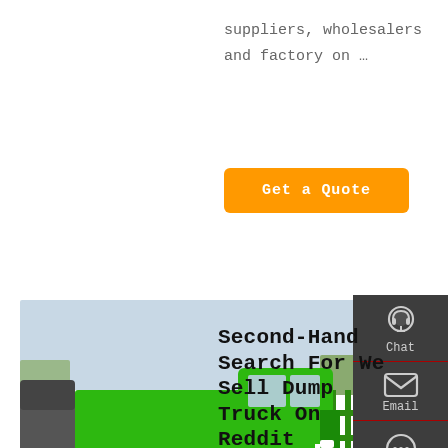suppliers, wholesalers and factory on …
Get a Quote
[Figure (photo): Green dump trucks (SINOTRUK/HOWO) parked in a yard with a fence in the background]
Second-Hand Search For We Sell Dump Truck On Reddit
Used Trucks for Sale Right Now - Autotrader. Test drive Used Trucks at home from the top dealers in your area. Search from 328185 Used
[Figure (infographic): Dark sidebar with Chat, Email, Contact, and Top navigation icons]